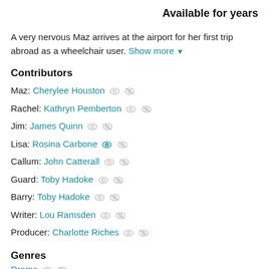Available for years
A very nervous Maz arrives at the airport for her first trip abroad as a wheelchair user. Show more ▼
Contributors
Maz: Cherylee Houston
Rachel: Kathryn Pemberton
Jim: James Quinn
Lisa: Rosina Carbone
Callum: John Catterall
Guard: Toby Hadoke
Barry: Toby Hadoke
Writer: Lou Ramsden
Producer: Charlotte Riches
Genres
Drama